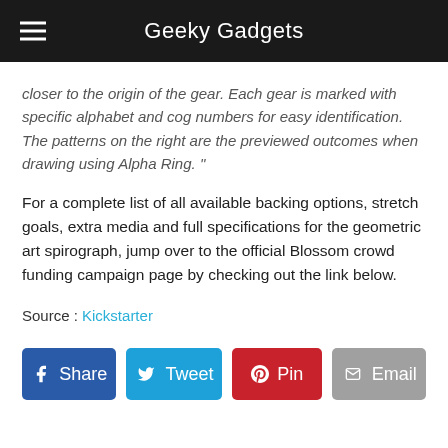Geeky Gadgets
closer to the origin of the gear. Each gear is marked with specific alphabet and cog numbers for easy identification. The patterns on the right are the previewed outcomes when drawing using Alpha Ring. "
For a complete list of all available backing options, stretch goals, extra media and full specifications for the geometric art spirograph, jump over to the official Blossom crowd funding campaign page by checking out the link below.
Source : Kickstarter
[Figure (infographic): Social sharing buttons: Share (Facebook, blue), Tweet (Twitter, cyan), Pin (Pinterest, red), Email (grey)]